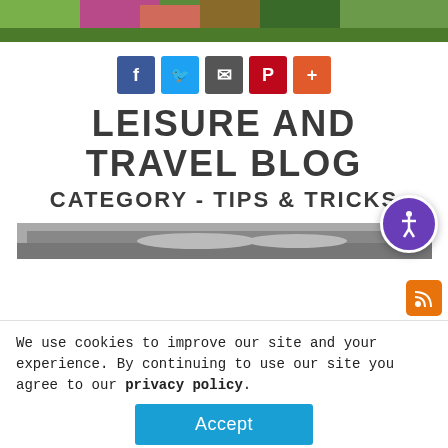[Figure (photo): Header photo showing flowers and garden plants]
[Figure (infographic): Social media share buttons: Facebook, Twitter, Email, Pinterest, Plus]
LEISURE AND TRAVEL BLOG
CATEGORY - TIPS & TRICKS
[Figure (photo): Photo of airplanes in a museum hangar]
We use cookies to improve our site and your experience. By continuing to use our site you agree to our privacy policy.
[Figure (photo): Bottom photo of aircraft interior or hangar]